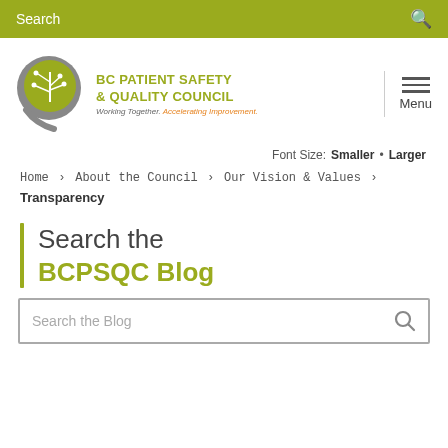Search
[Figure (logo): BC Patient Safety & Quality Council logo — circular emblem with stylized tree/leaf design in olive green and grey, with text 'BC PATIENT SAFETY & QUALITY COUNCIL' and tagline 'Working Together. Accelerating Improvement.']
Font Size: Smaller • Larger
Home > About the Council > Our Vision & Values > Transparency
Search the BCPSQC Blog
Search the Blog